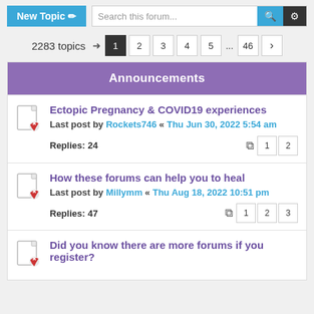New Topic | Search this forum...
2283 topics  1 2 3 4 5 ... 46 >
Announcements
Ectopic Pregnancy & COVID19 experiences
Last post by Rockets746 « Thu Jun 30, 2022 5:54 am
Replies: 24
How these forums can help you to heal
Last post by Millymm « Thu Aug 18, 2022 10:51 pm
Replies: 47
Did you know there are more forums if you register?